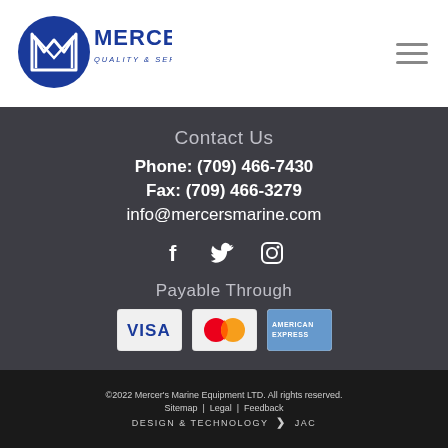[Figure (logo): Mercer's Marine logo with circular M icon and text 'MERCER'S QUALITY & SERVICE SINCE 1957' in blue]
Contact Us
Phone: (709) 466-7430
Fax: (709) 466-3279
info@mercersmarine.com
[Figure (infographic): Social media icons: Facebook, Twitter, Instagram]
Payable Through
[Figure (infographic): Payment method logos: VISA, Mastercard, American Express]
©2022 Mercer's Marine Equipment LTD. All rights reserved. Sitemap | Legal | Feedback DESIGN & TECHNOLOGY > JAC